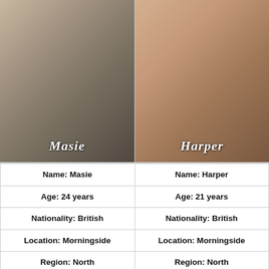[Figure (photo): Photo of Masie in gym setting with name overlay]
[Figure (photo): Photo of Harper in black outfit with name overlay]
| Name: Masie | Name: Harper |
| Age: 24 years | Age: 21 years |
| Nationality: British | Nationality: British |
| Location: Morningside | Location: Morningside |
| Region: North | Region: North |